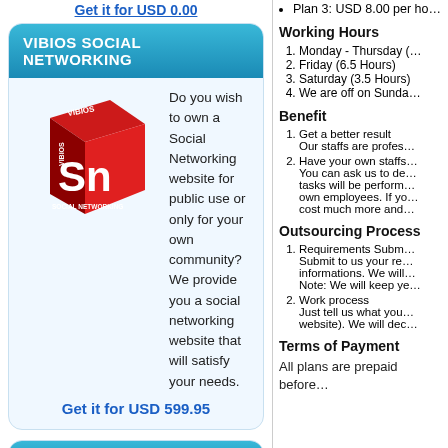Get it for USD 0.00
VIBIOS SOCIAL NETWORKING
[Figure (illustration): Red 3D box with VIBIOS Social Networking branding, showing 'Sn' letters]
Do you wish to own a Social Networking website for public use or only for your own community? We provide you a social networking website that will satisfy your needs.
Get it for USD 599.95
VIBIOS PORTAL
[Figure (illustration): Blue 3D box with VIBIOS News Portal branding, showing 'Np' letters]
Have your own portal to manage and publish your news, articles and images. As addition we provide a business/website directory with position bidding system, event management, currency convertion rate, weather information, and ads management.
Plan 3: USD 8.00 per ho...
Working Hours
Monday - Thursday (…
Friday (6.5 Hours)
Saturday (3.5 Hours)
We are off on Sunda…
Benefit
Get a better result — Our staffs are profes…
Have your own staffs… You can ask us to de… tasks will be perform… own employees. If yo… cost much more and…
Outsourcing Process
Requirements Subm… Submit to us your re… informations. We will… Note: We will keep ye…
Work process — Just tell us what you… website). We will dec…
Terms of Payment
All plans are prepaid before…